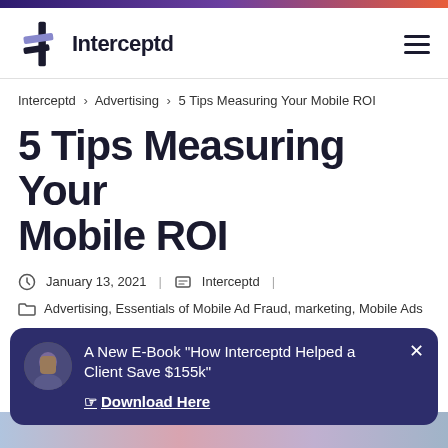Interceptd
Interceptd › Advertising › 5 Tips Measuring Your Mobile ROI
5 Tips Measuring Your Mobile ROI
January 13, 2021 | Interceptd
Advertising, Essentials of Mobile Ad Fraud, marketing, Mobile Ads
A New E-Book "How Interceptd Helped a Client Save $155k"
☞ Download Here
[Figure (photo): Partial view of a colorful background image at the bottom of the page]